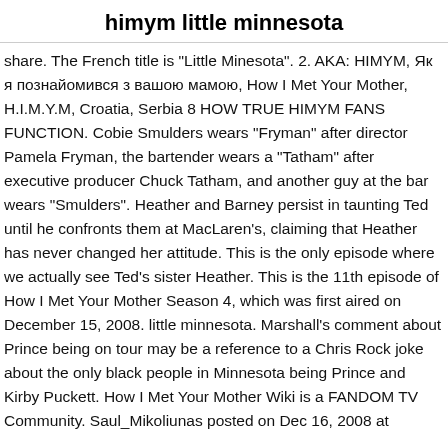himym little minnesota
share. The French title is "Little Minesota". 2. AKA: HIMYM, Як я познайомився з вашою мамою, How I Met Your Mother, H.I.M.Y.M, Croatia, Serbia 8 HOW TRUE HIMYM FANS FUNCTION. Cobie Smulders wears "Fryman" after director Pamela Fryman, the bartender wears a "Tatham" after executive producer Chuck Tatham, and another guy at the bar wears "Smulders". Heather and Barney persist in taunting Ted until he confronts them at MacLaren's, claiming that Heather has never changed her attitude. This is the only episode where we actually see Ted's sister Heather. This is the 11th episode of How I Met Your Mother Season 4, which was first aired on December 15, 2008. little minnesota. Marshall's comment about Prince being on tour may be a reference to a Chris Rock joke about the only black people in Minnesota being Prince and Kirby Puckett. How I Met Your Mother Wiki is a FANDOM TV Community. Saul_Mikoliunas posted on Dec 16, 2008 at